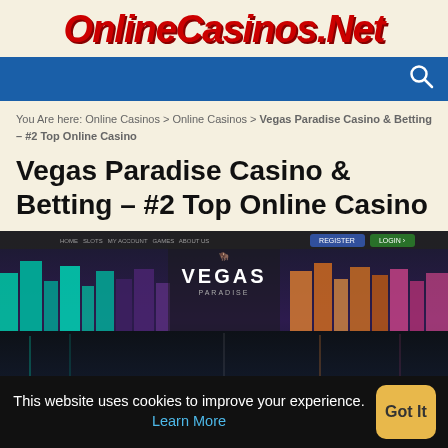OnlineCasinos.Net
You Are here: Online Casinos > Online Casinos > Vegas Paradise Casino & Betting – #2 Top Online Casino
Vegas Paradise Casino & Betting – #2 Top Online Casino
[Figure (screenshot): Vegas Paradise Casino website screenshot showing dark city skyline background with teal, purple and orange neon-lit buildings reflected in water, with 'VEGAS' logo/text in the center header area and navigation buttons visible at top right.]
This website uses cookies to improve your experience. Learn More